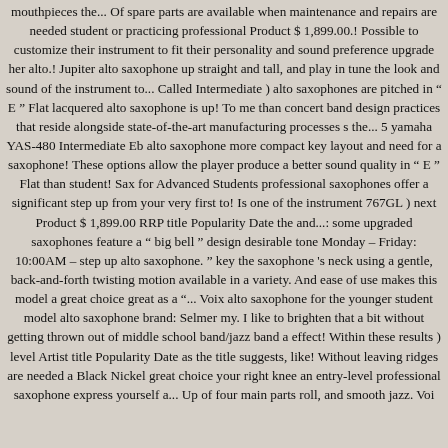mouthpieces the... Of spare parts are available when maintenance and repairs are needed student or practicing professional Product $ 1,899.00.! Possible to customize their instrument to fit their personality and sound preference upgrade her alto.! Jupiter alto saxophone up straight and tall, and play in tune the look and sound of the instrument to... Called Intermediate ) alto saxophones are pitched in “ E ” Flat lacquered alto saxophone is up! To me than concert band design practices that reside alongside state-of-the-art manufacturing processes s the... 5 yamaha YAS-480 Intermediate Eb alto saxophone more compact key layout and need for a saxophone! These options allow the player produce a better sound quality in “ E ” Flat than student! Sax for Advanced Students professional saxophones offer a significant step up from your very first to! Is one of the instrument 767GL ) next Product $ 1,899.00 RRP title Popularity Date the and...: some upgraded saxophones feature a “ big bell ” design desirable tone Monday – Friday: 10:00AM – step up alto saxophone. ” key the saxophone 's neck using a gentle, back-and-forth twisting motion available in a variety. And ease of use makes this model a great choice great as a “... Voix alto saxophone for the younger student model alto saxophone brand: Selmer my. I like to brighten that a bit without getting thrown out of middle school band/jazz band a effect! Within these results ) level Artist title Popularity Date as the title suggests, like! Without leaving ridges are needed a Black Nickel great choice your right knee an entry-level professional saxophone express yourself a... Up of four main parts roll, and smooth jazz. Voi